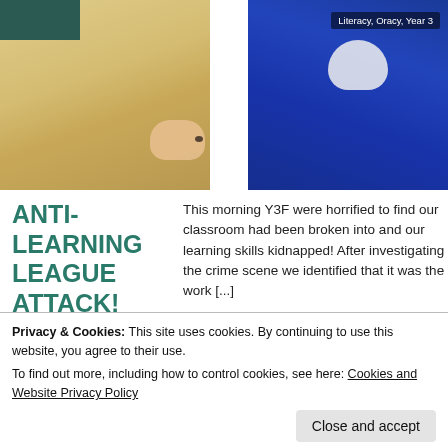[Figure (photo): A child in a blue school uniform leaning over a wooden desk, with a tag reading 'Literacy, Oracy, Year 3' in the top-right corner of the image.]
ANTI-LEARNING LEAGUE ATTACK!
This morning Y3F were horrified to find our classroom had been broken into and our learning skills kidnapped! After investigating the crime scene we identified that it was the work [...]
Privacy & Cookies: This site uses cookies. By continuing to use this website, you agree to their use.
To find out more, including how to control cookies, see here: Cookies and Website Privacy Policy
Loading...